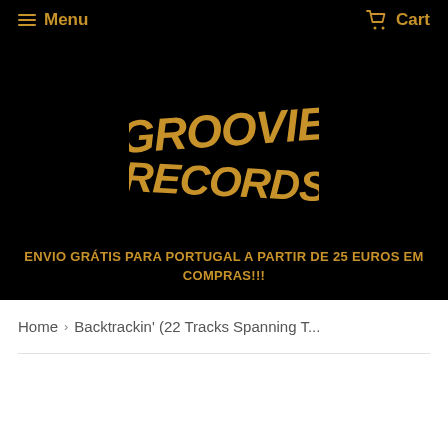Menu  Cart
[Figure (logo): Groovie Records logo in golden/orange bold stylized text on black background]
ENVIO GRÁTIS PARA PORTUGAL A PARTIR DE 25 EUROS EM COMPRAS!!!
Home › Backtrackin' (22 Tracks Spanning T...